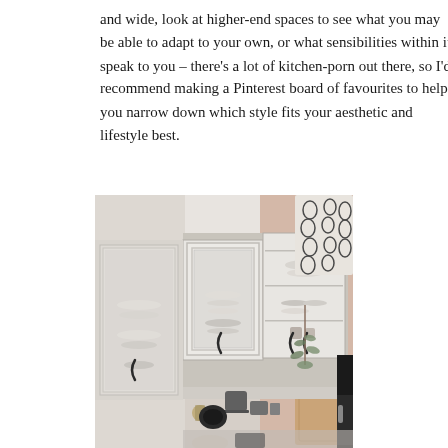and wide, look at higher-end spaces to see what you may be able to adapt to your own, or what sensibilities within it speak to you – there's a lot of kitchen-porn out there, so I'd recommend making a Pinterest board of favourites to help you narrow down which style fits your aesthetic and lifestyle best.
[Figure (photo): A kitchen scene showing white shaker-style upper cabinets with glass panels displaying dishes and crockery. A patterned textile hangs on the right side. A hanging eucalyptus plant, wooden cutting board, and various kitchen items on the counter below are visible.]